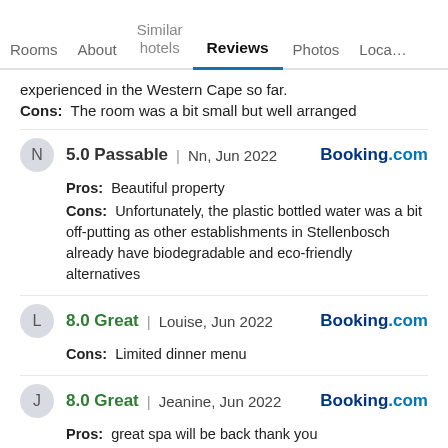Rooms | About | Similar hotels | Reviews | Photos | Loca...
experienced in the Western Cape so far.
Cons:  The room was a bit small but well arranged
5.0 Passable | Nn, Jun 2022 — Booking.com
Pros: Beautiful property
Cons: Unfortunately, the plastic bottled water was a bit off-putting as other establishments in Stellenbosch already have biodegradable and eco-friendly alternatives
8.0 Great | Louise, Jun 2022 — Booking.com
Cons: Limited dinner menu
8.0 Great | Jeanine, Jun 2022 — Booking.com
Pros: great spa will be back thank you
More reviews
Photos of Majeka House